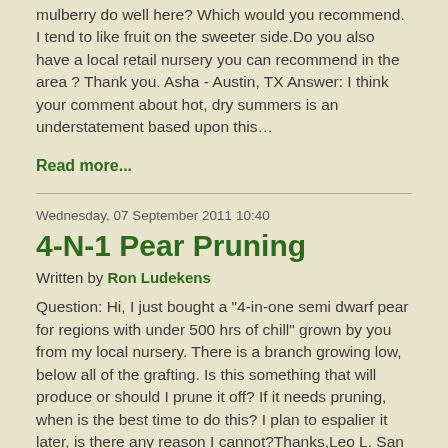mulberry do well here? Which would you recommend. I tend to like fruit on the sweeter side.Do you also have a local retail nursery you can recommend in the area ? Thank you. Asha - Austin, TX Answer: I think your comment about hot, dry summers is an understatement based upon this…
Read more...
Wednesday, 07 September 2011 10:40
4-N-1 Pear Pruning
Written by Ron Ludekens
Question: Hi, I just bought a "4-in-one semi dwarf pear for regions with under 500 hrs of chill" grown by you from my local nursery. There is a branch growing low, below all of the grafting. Is this something that will produce or should I prune it off? If it needs pruning, when is the best time to do this? I plan to espalier it later, is there any reason I cannot?Thanks,Leo L. San Antonio,…
Read more...